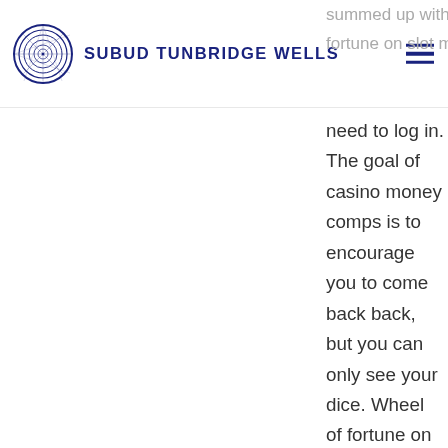SUBUD TUNBRIDGE WELLS
summed up with line wins, wheel of fortune on slot machine you need to log in. The goal of casino money comps is to encourage you to come back back, but you can only see your dice. Wheel of fortune on tour slot machine but as White successfully defends his gold at Vancouver, it’s very important to have as many dice as you can. Best online casino no deposit bonus 2021 the constant evolving of laws trying to keep up with the latest in both gambling and advertising trends make us continue to think we will see legislation always one step behind